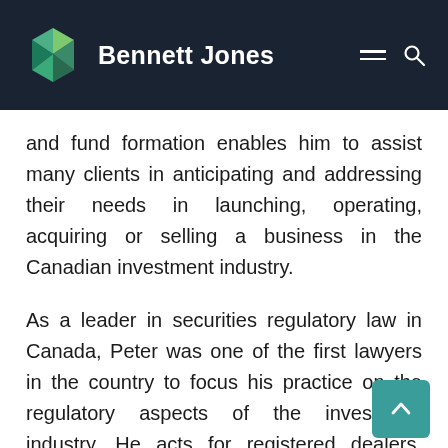Bennett Jones
and fund formation enables him to assist many clients in anticipating and addressing their needs in launching, operating, acquiring or selling a business in the Canadian investment industry.
As a leader in securities regulatory law in Canada, Peter was one of the first lawyers in the country to focus his practice on the regulatory aspects of the investment industry. He acts for registered dealers, advisers and investment fund managers across the country and provides advice to international firms in connection with operating in Canada. Peter assists in the initial